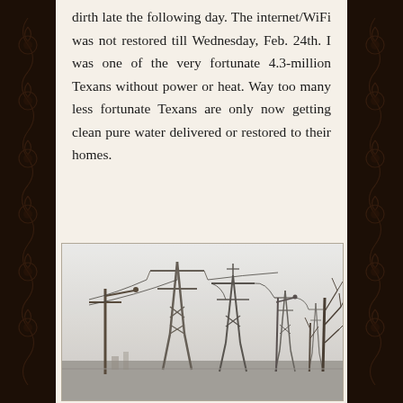dirth late the following day. The internet/WiFi was not restored till Wednesday, Feb. 24th. I was one of the very fortunate 4.3-million Texans without power or heat. Way too many less fortunate Texans are only now getting clean pure water delivered or restored to their homes.
[Figure (photo): A winter scene showing electrical power transmission towers/pylons and utility poles along a road, with bare trees on the right side, under an overcast grey-white sky with snow on the ground. Several large steel lattice transmission towers are visible in the background.]